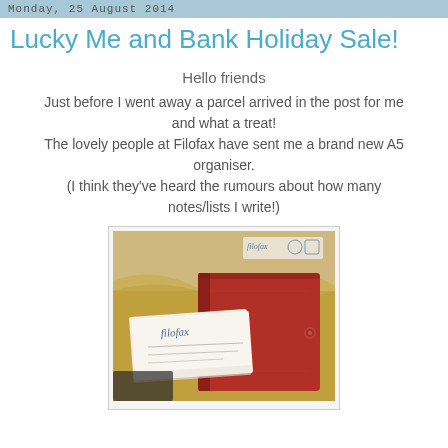Monday, 25 August 2014
Lucky Me and Bank Holiday Sale!
Hello friends
Just before I went away a parcel arrived in the post for me and what a treat!
The lovely people at Filofax have sent me a brand new A5 organiser.
(I think they've heard the rumours about how many notes/lists I write!)
[Figure (photo): A red Filofax A5 organiser planner with a snap button closure, lying on gold/tan tissue paper inside a shipping bag. A white Filofax branded card/note is placed on top of the organiser. A Filofax branded mailing bag is visible in the background.]